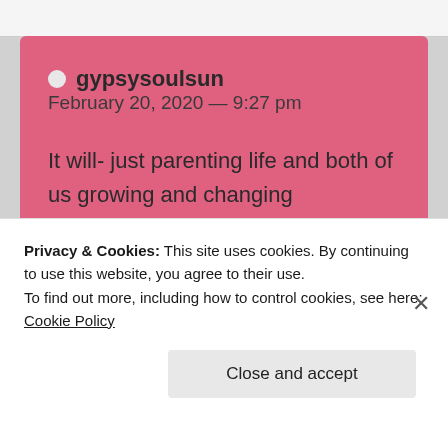gypsysoulsun  February 20, 2020 — 9:27 pm
It will- just parenting life and both of us growing and changing
★ Like
Privacy & Cookies: This site uses cookies. By continuing to use this website, you agree to their use.
To find out more, including how to control cookies, see here: Cookie Policy
Close and accept